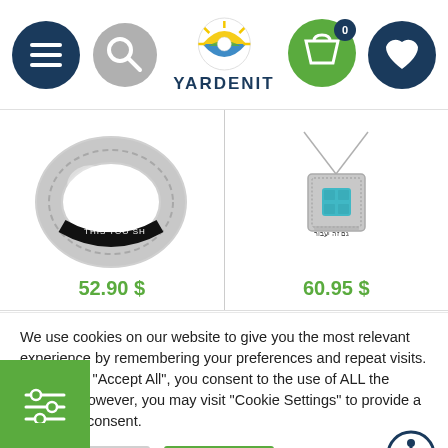[Figure (screenshot): Yardenit e-commerce website header with navigation icons (hamburger menu, search), Yardenit logo in center, shopping cart with badge showing 0, and heart/wishlist icon]
[Figure (photo): Silver twisted ring with inscription 'THIS TOO SH' (This Too Shall Pass) on black band, priced at 52.90 $]
[Figure (photo): Silver square pendant necklace with turquoise stone and Hebrew inscription, priced at 60.95 $]
52.90 $
60.95 $
We use cookies on our website to give you the most relevant experience by remembering your preferences and repeat visits. By clicking "Accept All", you consent to the use of ALL the cookies. However, you may visit "Cookie Settings" to provide a controlled consent.